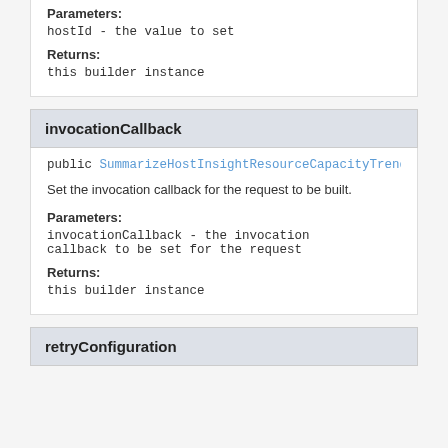Parameters:
hostId - the value to set
Returns:
this builder instance
invocationCallback
public SummarizeHostInsightResourceCapacityTrendR
Set the invocation callback for the request to be built.
Parameters:
invocationCallback - the invocation callback to be set for the request
Returns:
this builder instance
retryConfiguration